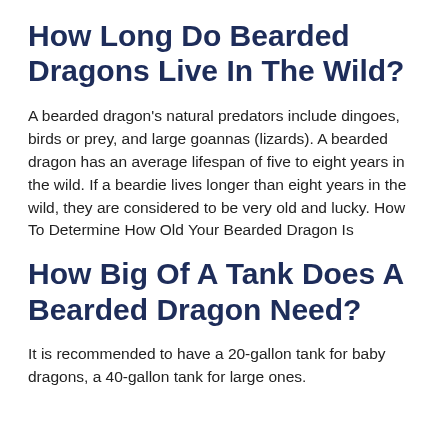How Long Do Bearded Dragons Live In The Wild?
A bearded dragon's natural predators include dingoes, birds or prey, and large goannas (lizards). A bearded dragon has an average lifespan of five to eight years in the wild. If a beardie lives longer than eight years in the wild, they are considered to be very old and lucky. How To Determine How Old Your Bearded Dragon Is
How Big Of A Tank Does A Bearded Dragon Need?
It is recommended to have a 20-gallon tank for baby dragons, a 40-gallon tank for large ones.